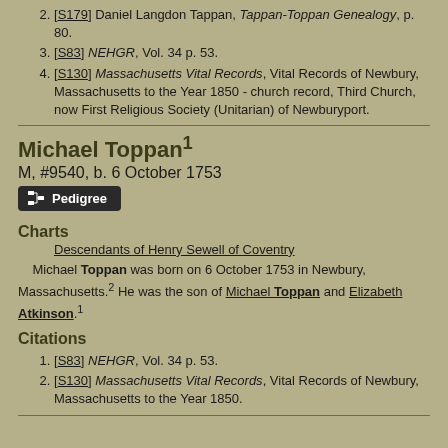2. [S179] Daniel Langdon Tappan, Tappan-Toppan Genealogy, p. 80.
3. [S83] NEHGR, Vol. 34 p. 53.
4. [S130] Massachusetts Vital Records, Vital Records of Newbury, Massachusetts to the Year 1850 - church record, Third Church, now First Religious Society (Unitarian) of Newburyport.
Michael Toppan
M, #9540, b. 6 October 1753
Charts
Descendants of Henry Sewell of Coventry
Michael Toppan was born on 6 October 1753 in Newbury, Massachusetts.2 He was the son of Michael Toppan and Elizabeth Atkinson.1
Citations
1. [S83] NEHGR, Vol. 34 p. 53.
2. [S130] Massachusetts Vital Records, Vital Records of Newbury, Massachusetts to the Year 1850.